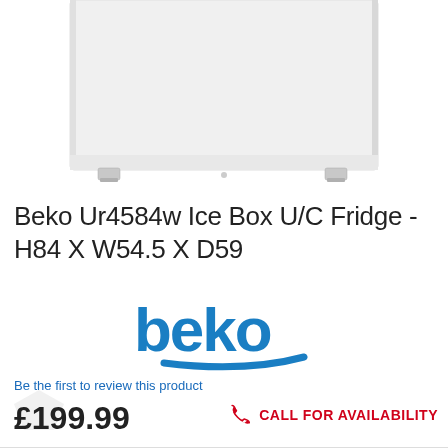[Figure (photo): White under-counter fridge (Beko Ur4584w) showing bottom portion with white body and small feet/rollers visible]
Beko Ur4584w Ice Box U/C Fridge - H84 X W54.5 X D59
[Figure (logo): Beko brand logo in blue with swoosh underline]
Be the first to review this product
£199.99
CALL FOR AVAILABILITY